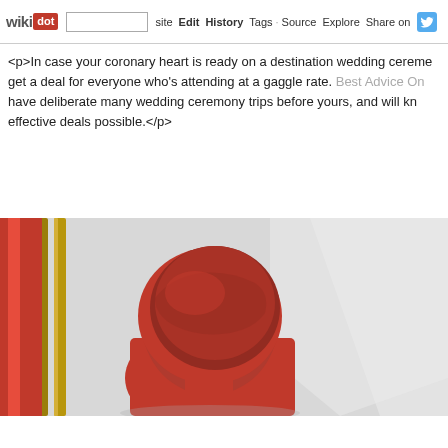wikidot | site | Edit | History | Tags | Source | Explore | Share on [Twitter]
<p>In case your coronary heart is ready on a destination wedding ceremony get a deal for everyone who's attending at a gaggle rate. Best Advice On have deliberate many wedding ceremony trips before yours, and will know effective deals possible.</p>
[Figure (photo): A person wearing a red head covering, viewed from behind, standing near gold vertical posts against a light grey background.]